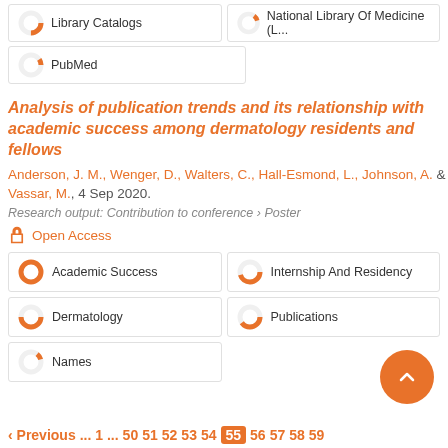[Figure (other): Two keyword badge boxes at top: 'Library Catalogs' with ~50% donut and 'National Library Of Medicine (L...' with ~10% donut]
[Figure (other): Keyword badge box: 'PubMed' with ~15% donut]
Analysis of publication trends and its relationship with academic success among dermatology residents and fellows
Anderson, J. M., Wenger, D., Walters, C., Hall-Esmond, L., Johnson, A. & Vassar, M., 4 Sep 2020.
Research output: Contribution to conference › Poster
Open Access
[Figure (other): Keyword badges grid: Academic Success (100%), Internship And Residency (~70%), Dermatology (~75%), Publications (~65%), Names (~10%)]